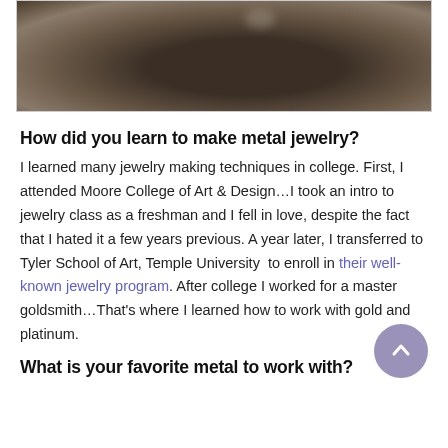[Figure (photo): Dark, close-up photograph of metal jewelry piece against dark background]
How did you learn to make metal jewelry?
I learned many jewelry making techniques in college. First, I attended Moore College of Art & Design…I took an intro to jewelry class as a freshman and I fell in love, despite the fact that I hated it a few years previous. A year later, I transferred to Tyler School of Art, Temple University  to enroll in their well-known jewelry program. After college I worked for a master goldsmith…That's where I learned how to work with gold and platinum.
What is your favorite metal to work with?